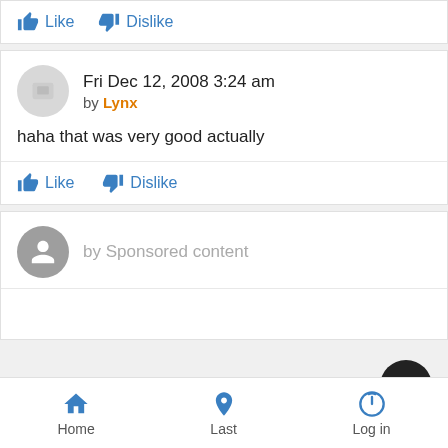Like  Dislike
Fri Dec 12, 2008 3:24 am by Lynx
haha that was very good actually
Like  Dislike
by Sponsored content
Home  Last  Log in